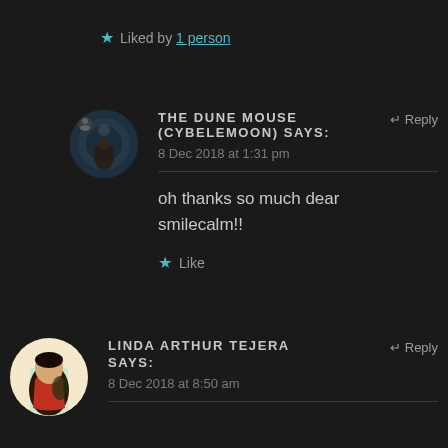★ Liked by 1 person
THE DUNE MOUSE (CYBELEMOON) says: 8 Dec 2018 at 1:31 pm
↵ Reply
oh thanks so much dear smilecalm!!
★ Like
LINDA ARTHUR TEJERA says: 8 Dec 2018 at 8:50 am